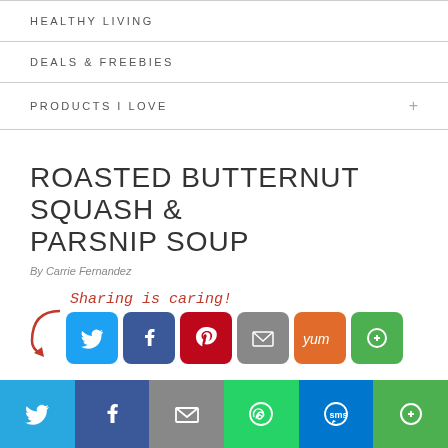HEALTHY LIVING
DEALS & FREEBIES
PRODUCTS I LOVE
ROASTED BUTTERNUT SQUASH & PARSNIP SOUP
By Carrie Fernandez
[Figure (infographic): Sharing is caring! label with arrow and social share buttons: Twitter, Facebook, Pinterest, Email, Yummly, More]
[Figure (infographic): Bottom share bar with Twitter, Facebook, Email, WhatsApp, SMS, More buttons]